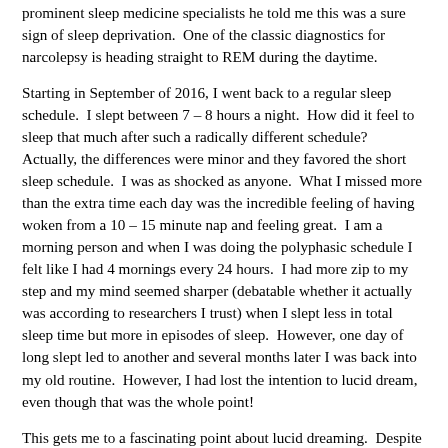prominent sleep medicine specialists he told me this was a sure sign of sleep deprivation.  One of the classic diagnostics for narcolepsy is heading straight to REM during the daytime.
Starting in September of 2016, I went back to a regular sleep schedule.  I slept between 7 – 8 hours a night.  How did it feel to sleep that much after such a radically different schedule?  Actually, the differences were minor and they favored the short sleep schedule.  I was as shocked as anyone.  What I missed more than the extra time each day was the incredible feeling of having woken from a 10 – 15 minute nap and feeling great.  I am a morning person and when I was doing the polyphasic schedule I felt like I had 4 mornings every 24 hours.  I had more zip to my step and my mind seemed sharper (debatable whether it actually was according to researchers I trust) when I slept less in total sleep time but more in episodes of sleep.  However, one day of long slept led to another and several months later I was back into my old routine.  However, I had lost the intention to lucid dream, even though that was the whole point!
This gets me to a fascinating point about lucid dreaming.  Despite how amazing it is, despite how many times I've had a powerful lucid dream, it is way too easy to pave over the experience with something that seems more valuable, more productive.  Why is that?  Honestly, I don't know.  Maybe because lucid dreaming falls into a spiritual discipline category.  Spiritual disciplines are hard